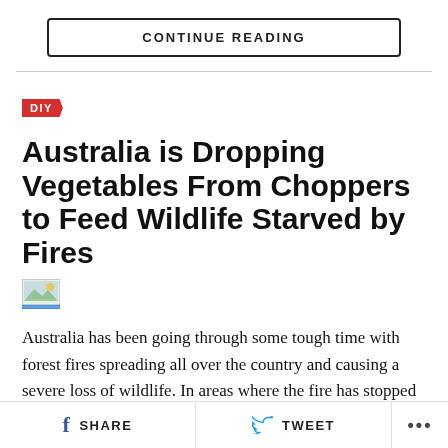CONTINUE READING
DIY
Australia is Dropping Vegetables From Choppers to Feed Wildlife Starved by Fires
[Figure (photo): Small thumbnail image placeholder]
Australia has been going through some tough time with forest fires spreading all over the country and causing a severe loss of wildlife. In areas where the fire has stopped burning, the remaining animals are still struggling to find food and survive. Australia has found...
SHARE   TWEET   ...